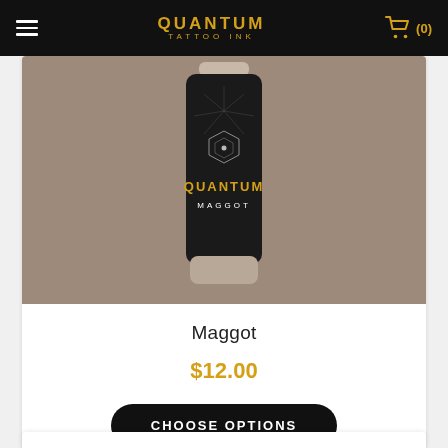QUANTUM TATTOO INK — (0)
[Figure (photo): Quantum Tattoo Ink bottle labeled 'MAGGOT' with a dark/black label featuring geometric designs and the Quantum logo in gold lettering, set against a taupe/brownish background.]
Maggot
$12.00
CHOOSE OPTIONS